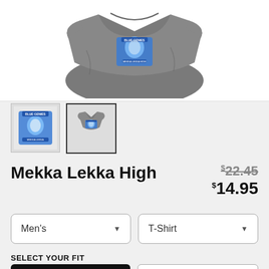[Figure (photo): Gray folded t-shirt with blue graphic design on front showing a face and 'Blue Genies' text]
[Figure (photo): Thumbnail 1: Blue graphic design logo on white background]
[Figure (photo): Thumbnail 2: Gray t-shirt with blue design, selected state with border]
Mekka Lekka High
$22.45 (strikethrough original price)
$14.95 (sale price)
Men's (dropdown)
T-Shirt (dropdown)
SELECT YOUR FIT